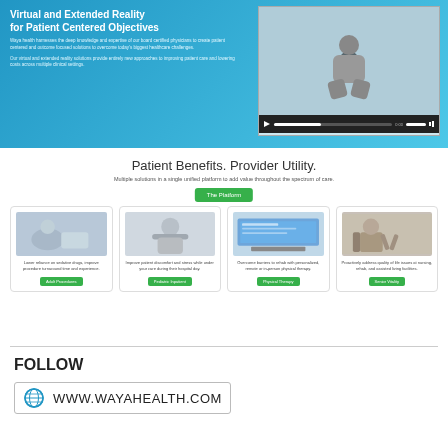[Figure (screenshot): Hero banner with blue gradient background, text about Virtual and Extended Reality for Patient Centered Objectives, and a video player with a person meditating wearing VR headset]
Patient Benefits. Provider Utility.
Multiple solutions in a single unified platform to add value throughout the spectrum of care.
The Platform
[Figure (photo): Card 1: Medical procedure image. Lower reliance on sedative drugs, improve procedure turnaround time and experience. Adult Procedures button.]
[Figure (photo): Card 2: Person with VR headset. Improve patient discomfort and stress while under your care during their hospital day. Pediatric Inpatient button.]
[Figure (photo): Card 3: Computer/screen showing physical therapy interface. Overcome barriers to rehab with personalized, remote or in-person physical therapy. Physical Therapy button.]
[Figure (photo): Card 4: Person in chair with VR headset. Proactively address quality of life issues at nursing, rehab, and assisted living facilities. Senior Vitality button.]
FOLLOW
WWW.WAYAHEALTH.COM